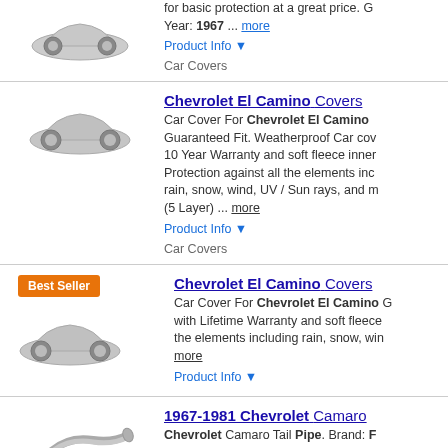for basic protection at a great price. G... Year: 1967 ... more
Product Info ▼
Car Covers
[Figure (photo): Car cover product image showing a gray covered car]
Chevrolet El Camino Covers
Car Cover For Chevrolet El Camino Guaranteed Fit. Weatherproof Car co... 10 Year Warranty and soft fleece inner... Protection against all the elements inc... rain, snow, wind, UV / Sun rays, and m... (5 Layer) ... more
Product Info ▼
Car Covers
[Figure (photo): Car cover product image second listing]
Chevrolet El Camino Covers
Car Cover For Chevrolet El Camino G... with Lifetime Warranty and soft fleece ... the elements including rain, snow, win... more
Product Info ▼
[Figure (photo): Best Seller badge with car cover image]
1967-1981 Chevrolet Camaro
Chevrolet Camaro Tail Pipe. Brand: F... 1970, 1971, 1972, 1973, 1974, 1975, ... 68, 69, 70, 71, 72, 73, 74, 75, 76, 77, ... more
[Figure (photo): Exhaust tail pipe product image]